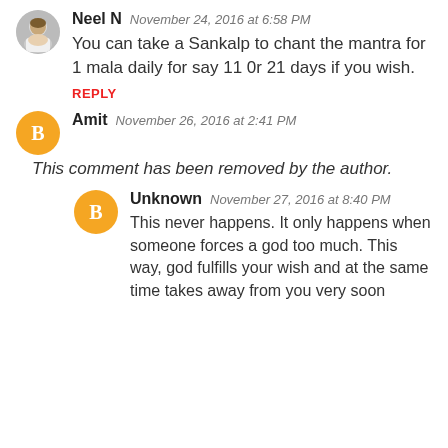Neel N  November 24, 2016 at 6:58 PM
You can take a Sankalp to chant the mantra for 1 mala daily for say 11 0r 21 days if you wish.
REPLY
Amit  November 26, 2016 at 2:41 PM
This comment has been removed by the author.
Unknown  November 27, 2016 at 8:40 PM
This never happens. It only happens when someone forces a god too much. This way, god fulfills your wish and at the same time takes away from you very soon